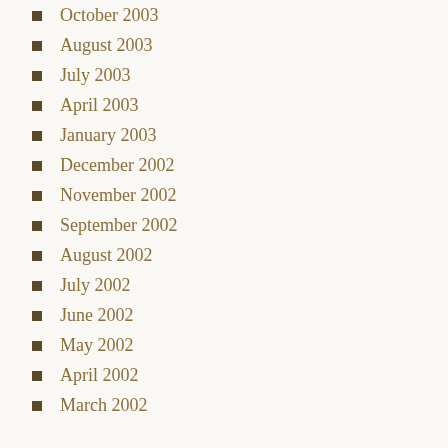October 2003
August 2003
July 2003
April 2003
January 2003
December 2002
November 2002
September 2002
August 2002
July 2002
June 2002
May 2002
April 2002
March 2002